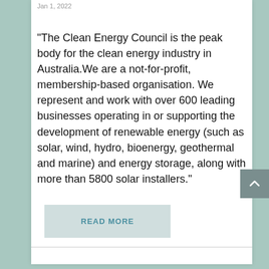Jan 1, 2022
“The Clean Energy Council is the peak body for the clean energy industry in Australia.We are a not-for-profit, membership-based organisation. We represent and work with over 600 leading businesses operating in or supporting the development of renewable energy (such as solar, wind, hydro, bioenergy, geothermal and marine) and energy storage, along with more than 5800 solar installers.”
READ MORE